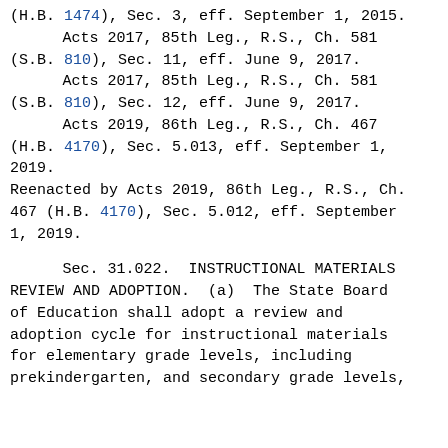(H.B. 1474), Sec. 3, eff. September 1, 2015.
        Acts 2017, 85th Leg., R.S., Ch. 581
(S.B. 810), Sec. 11, eff. June 9, 2017.
        Acts 2017, 85th Leg., R.S., Ch. 581
(S.B. 810), Sec. 12, eff. June 9, 2017.
        Acts 2019, 86th Leg., R.S., Ch. 467
(H.B. 4170), Sec. 5.013, eff. September 1,
2019.
Reenacted by Acts 2019, 86th Leg., R.S., Ch.
467 (H.B. 4170), Sec. 5.012, eff. September
1, 2019.
Sec. 31.022.  INSTRUCTIONAL MATERIALS REVIEW AND ADOPTION.  (a)  The State Board of Education shall adopt a review and adoption cycle for instructional materials for elementary grade levels, including prekindergarten, and secondary grade levels,